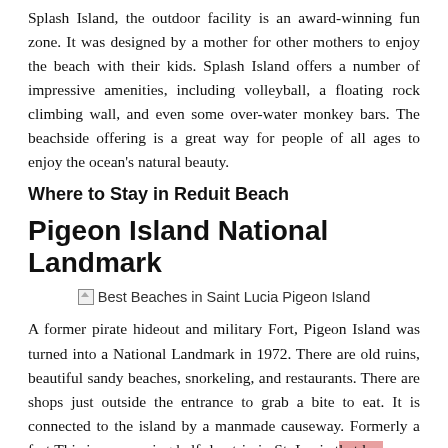Splash Island, the outdoor facility is an award-winning fun zone. It was designed by a mother for other mothers to enjoy the beach with their kids. Splash Island offers a number of impressive amenities, including volleyball, a floating rock climbing wall, and even some over-water monkey bars. The beachside offering is a great way for people of all ages to enjoy the ocean's natural beauty.
Where to Stay in Reduit Beach
Pigeon Island National Landmark
[Figure (photo): Best Beaches in Saint Lucia Pigeon Island (broken image placeholder)]
A former pirate hideout and military Fort, Pigeon Island was turned into a National Landmark in 1972. There are old ruins, beautiful sandy beaches, snorkeling, and restaurants. There are shops just outside the entrance to grab a bite to eat. It is connected to the island by a manmade causeway. Formerly a fort This is an amazing half-day trip in St. Lucia that has some amazing hikes to the top of the island and fort for incredible views of Rodney Bay.